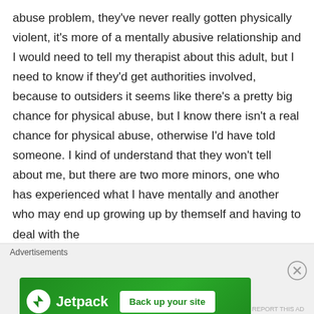abuse problem, they've never really gotten physically violent, it's more of a mentally abusive relationship and I would need to tell my therapist about this adult, but I need to know if they'd get authorities involved, because to outsiders it seems like there's a pretty big chance for physical abuse, but I know there isn't a real chance for physical abuse, otherwise I'd have told someone. I kind of understand that they won't tell about me, but there are two more minors, one who has experienced what I have mentally and another who may end up growing up by themself and having to deal with the
Advertisements
[Figure (other): Jetpack advertisement banner with green background showing Jetpack logo and 'Back up your site' button]